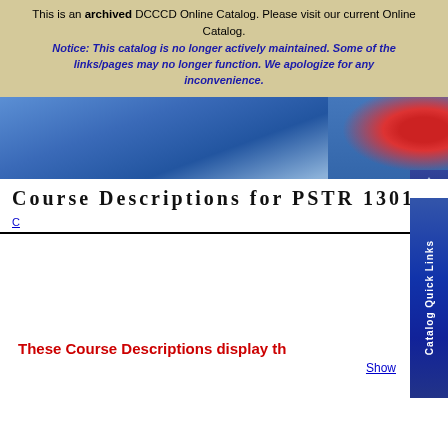This is an archived DCCCD Online Catalog. Please visit our current Online Catalog.
Notice: This catalog is no longer actively maintained. Some of the links/pages may no longer function. We apologize for any inconvenience.
[Figure (photo): Header photo of a graduate in blue cap and gown holding a diploma with red ribbon]
Course Descriptions for PSTR 1301
These Course Descriptions display th
Show
PSTR 1301 (3 Credit Hours) Offered at ECC